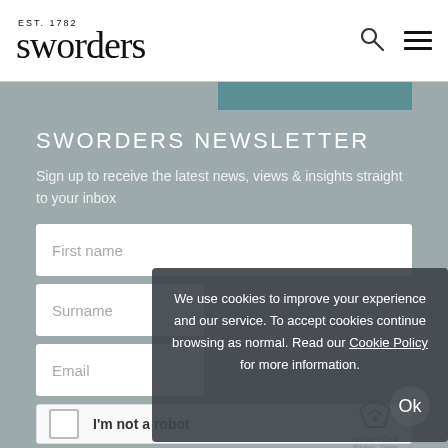EST. 1782 sworders
SWORDERS NEWSLETTER
Sign up to receive the latest news, views & insights straight to your inbox
First name
Surname
Email
I'm not a robot reCAPTCHA Privacy - Terms
We use cookies to improve your experience and our service. To accept cookies continue browsing as normal. Read our Cookie Policy for more information.
Ok